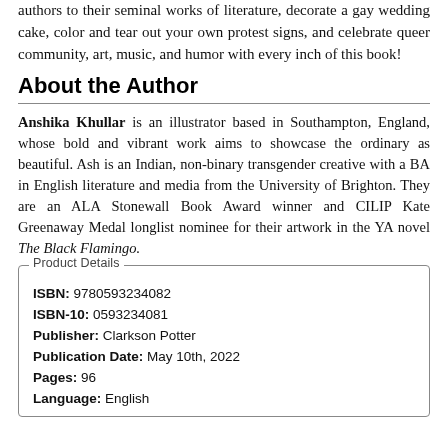authors to their seminal works of literature, decorate a gay wedding cake, color and tear out your own protest signs, and celebrate queer community, art, music, and humor with every inch of this book!
About the Author
Anshika Khullar is an illustrator based in Southampton, England, whose bold and vibrant work aims to showcase the ordinary as beautiful. Ash is an Indian, non-binary transgender creative with a BA in English literature and media from the University of Brighton. They are an ALA Stonewall Book Award winner and CILIP Kate Greenaway Medal longlist nominee for their artwork in the YA novel The Black Flamingo.
| ISBN: | 9780593234082 |
| ISBN-10: | 0593234081 |
| Publisher: | Clarkson Potter |
| Publication Date: | May 10th, 2022 |
| Pages: | 96 |
| Language: | English |